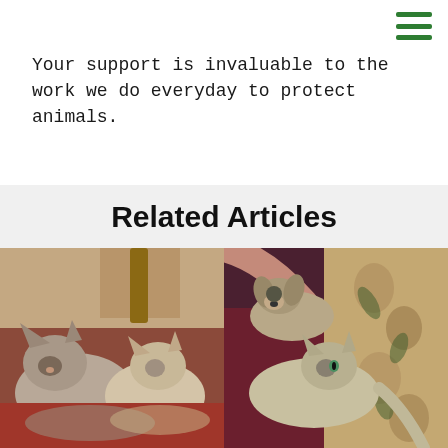Your support is invaluable to the work we do everyday to protect animals.
Related Articles
[Figure (photo): Two Siamese/oriental cats curled up together on a red/brown surface with a floral chair in the background]
[Figure (photo): A dog and a cat resting together on a maroon fabric surface with a floral upholstered chair in the background]